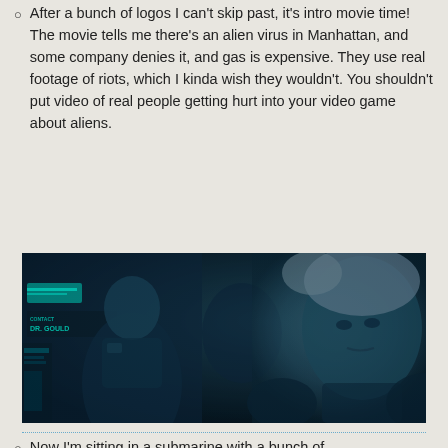After a bunch of logos I can't skip past, it's intro movie time! The movie tells me there's an alien virus in Manhattan, and some company denies it, and gas is expensive. They use real footage of riots, which I kinda wish they wouldn't. You shouldn't put video of real people getting hurt into your video game about aliens.
[Figure (screenshot): Dark cinematic screenshot from a video game showing characters in a dimly lit blue-toned scene. Text overlay reads 'DR. GOULD' on the left side.]
Now I'm sitting in a submarine with a bunch of